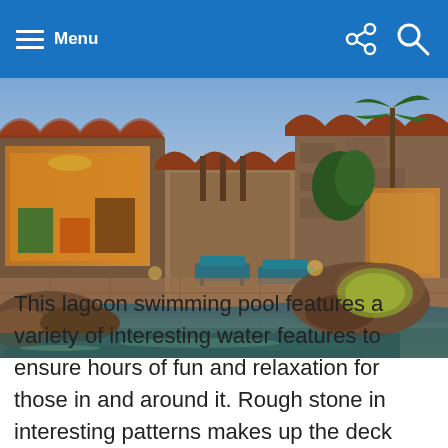Menu
[Figure (photo): Outdoor lagoon-style swimming pool with rock features, hot tub, lounge chairs, and a Mediterranean-style stone house with terra cotta roof tiles at dusk.]
This lagoon swimming pool features a variety of interesting water features to ensure hours of fun and relaxation for those in and around it. Rough stone in interesting patterns makes up the deck and lounge